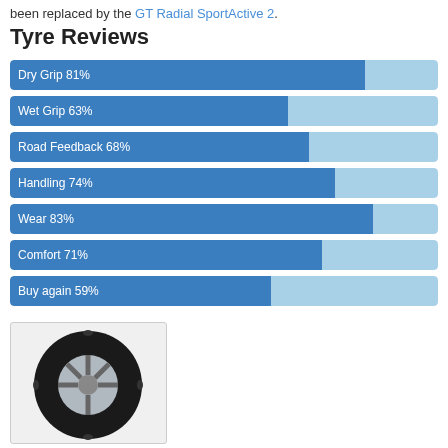been replaced by the GT Radial SportActive 2.
Tyre Reviews
[Figure (bar-chart): Tyre Reviews]
[Figure (photo): Photo of a GT Radial sport tyre on an alloy wheel]